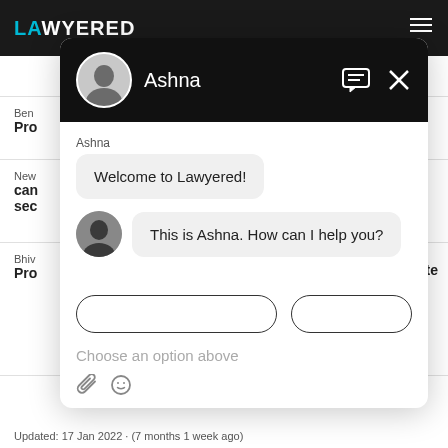[Figure (screenshot): Screenshot of Lawyered website with a chat widget overlay. The chat widget shows a conversation with 'Ashna' — a welcome message 'Welcome to Lawyered!' and a follow-up 'This is Ashna. How can I help you?'. Below are partially visible option buttons, a 'Choose an option above' input placeholder, and attachment/emoji icons. The background shows the Lawyered website with dark top navigation bar with the logo, partially visible website content sections, and a footer date line.]